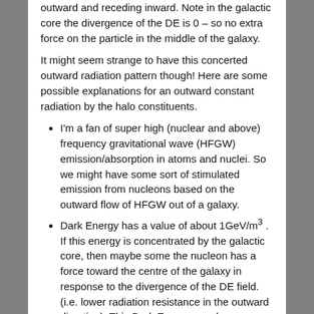outward and receding inward. Note in the galactic core the divergence of the DE is 0 – so no extra force on the particle in the middle of the galaxy.
It might seem strange to have this concerted outward radiation pattern though! Here are some possible explanations for an outward constant radiation by the halo constituents.
I'm a fan of super high (nuclear and above) frequency gravitational wave (HFGW) emission/absorption in atoms and nuclei. So we might have some sort of stimulated emission from nucleons based on the outward flow of HFGW out of a galaxy.
Dark Energy has a value of about 1GeV/m³. If this energy is concentrated by the galactic core, then maybe some the nucleon has a force toward the centre of the galaxy in response to the divergence of the DE field. (i.e. lower radiation resistance in the outward direction). This Dark Energy may be some new field, (or HFGW).
Some other mechanism. We don't have to know the mechanism to predict some consequences.
People don't generally like the MOND theories because general relativity (GR) in its usual form is so well tested and